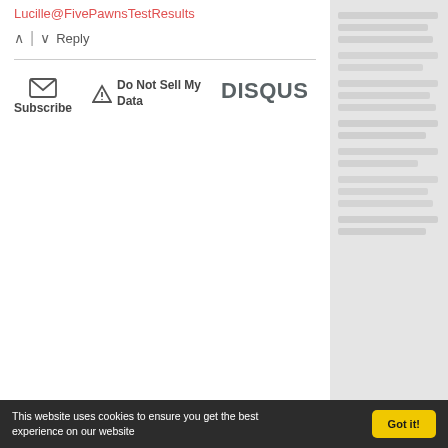Lucille@FivePawnsTestResults
^ | v Reply
Subscribe   Do Not Sell My Data   DISQUS
[Figure (screenshot): Gray sidebar with blurred/redacted text content]
This website uses cookies to ensure you get the best experience on our website
Got it!